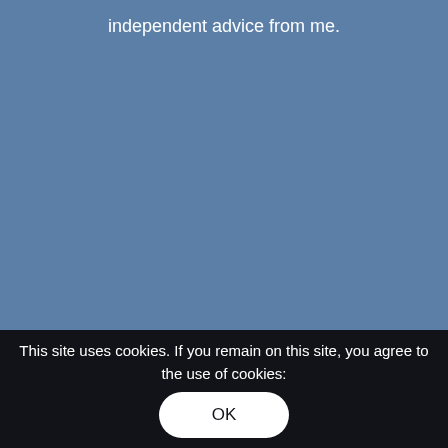independent advice from me.
This site uses cookies. If you remain on this site, you agree to the use of cookies:
OK